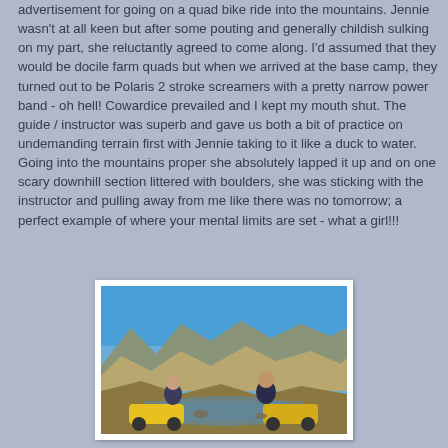advertisement for going on a quad bike ride into the mountains.  Jennie wasn't at all keen but after some pouting and generally childish sulking on my part, she reluctantly agreed to come along.  I'd assumed that they would be docile farm quads but when we arrived at the base camp, they turned out to be Polaris 2 stroke screamers with a pretty narrow power band - oh hell!  Cowardice prevailed and I kept my mouth shut.  The guide / instructor was superb and gave us both a bit of practice on undemanding terrain first with Jennie taking to it like a duck to water.  Going into the mountains proper she absolutely lapped it up and on one scary downhill section littered with boulders, she was sticking with the instructor and pulling away from me like there was no tomorrow; a perfect example of where your mental limits are set - what a girl!!!
[Figure (photo): Two people posing on quad bikes near a lake with mountains in the background under a blue sky.]